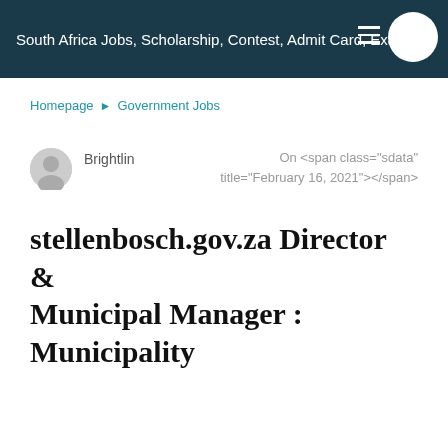South Africa Jobs, Scholarship, Contest, Admit Card, Exam
Homepage ► Government Jobs
Brightlin   On <span class="sdata" title="February 16, 2021"></span>
stellenbosch.gov.za Director & Municipal Manager : Municipality